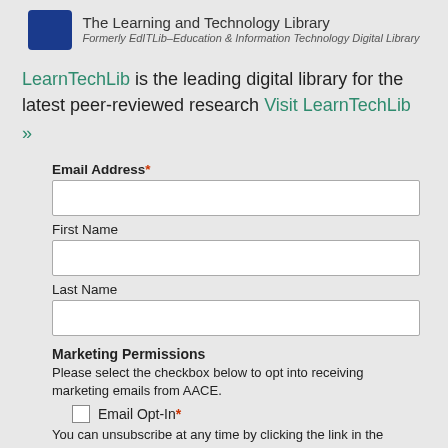[Figure (logo): LearnTechLib logo with blue square icon and text 'The Learning and Technology Library', subtitle 'Formerly EdITLib–Education & Information Technology Digital Library']
LearnTechLib is the leading digital library for the latest peer-reviewed research Visit LearnTechLib »
Email Address*
First Name
Last Name
Marketing Permissions
Please select the checkbox below to opt into receiving marketing emails from AACE.
Email Opt-In*
You can unsubscribe at any time by clicking the link in the footer of our emails. For information about our privacy